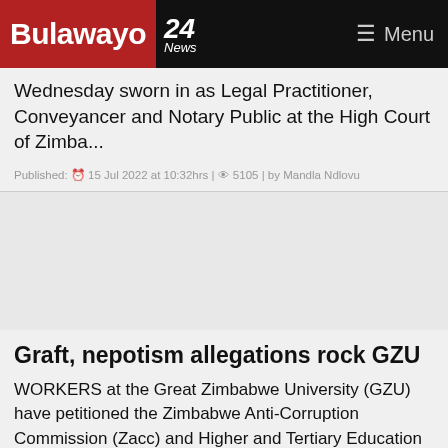Bulawayo 24 News — Menu
Wednesday sworn in as Legal Practitioner, Conveyancer and Notary Public at the High Court of Zimba...
Published: 15 Jul 2022 at 10:32hrs | 5105 | by Mandla Ndlovu
[Figure (other): Advertisement space / blank grey area]
Graft, nepotism allegations rock GZU
WORKERS at the Great Zimbabwe University (GZU) have petitioned the Zimbabwe Anti-Corruption Commission (Zacc) and Higher and Tertiary Education minister Amon Murwira over corruption and nepotism amid ...